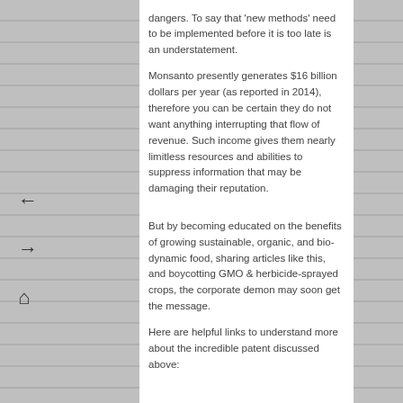dangers. To say that 'new methods' need to be implemented before it is too late is an understatement.
Monsanto presently generates $16 billion dollars per year (as reported in 2014), therefore you can be certain they do not want anything interrupting that flow of revenue. Such income gives them nearly limitless resources and abilities to suppress information that may be damaging their reputation.
But by becoming educated on the benefits of growing sustainable, organic, and bio-dynamic food, sharing articles like this, and boycotting GMO & herbicide-sprayed crops, the corporate demon may soon get the message.
Here are helpful links to understand more about the incredible patent discussed above: